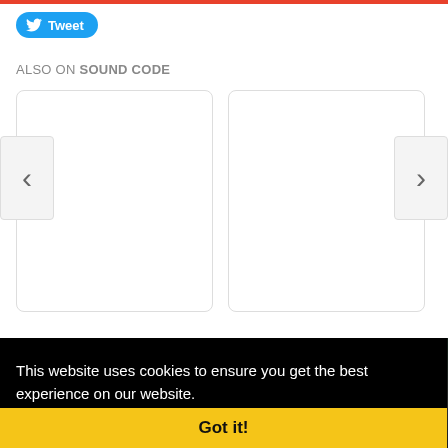[Figure (other): Twitter Tweet button (blue rounded pill with bird icon and 'Tweet' text)]
ALSO ON SOUND CODE
[Figure (other): Carousel of two white card panels with left and right navigation arrows (< and >)]
This website uses cookies to ensure you get the best experience on our website.
Learn more
Got it!